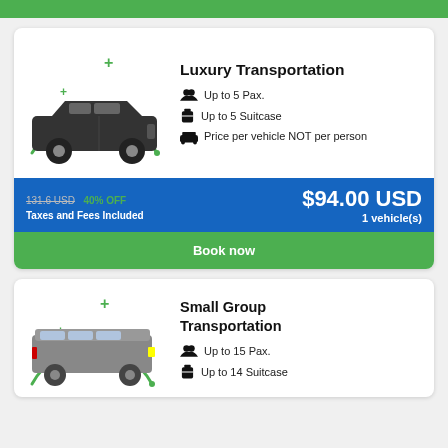[Figure (illustration): Green top bar decoration]
[Figure (illustration): Luxury Transportation card with black SUV over green arc, features list, price bar showing $94.00 USD with 40% OFF, and Book now button]
Luxury Transportation
Up to 5 Pax.
Up to 5 Suitcase
Price per vehicle NOT per person
131.6 USD  40% OFF
Taxes and Fees Included
$94.00 USD
1 vehicle(s)
Book now
Small Group Transportation
Up to 15 Pax.
Up to 14 Suitcase